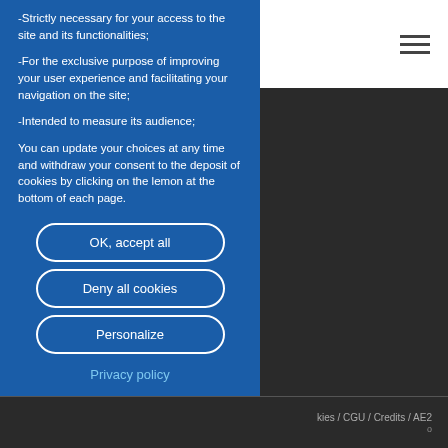-Strictly necessary for your access to the site and its functionalities;

-For the exclusive purpose of improving your user experience and facilitating your navigation on the site;

-Intended to measure its audience;

You can update your choices at any time and withdraw your consent to the deposit of cookies by clicking on the lemon at the bottom of each page.
OK, accept all
Deny all cookies
Personalize
Privacy policy
kies / CGU / Credits / AE2